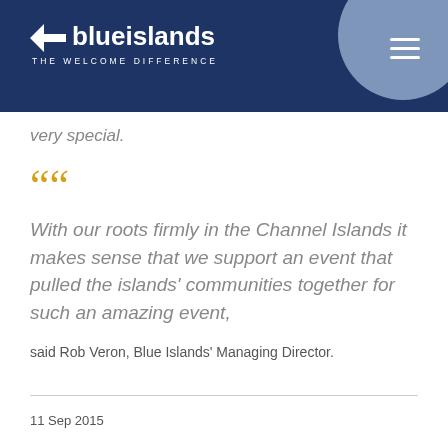Blue Islands – THE WELCOME DIFFERENCE
very special.
With our roots firmly in the Channel Islands it makes sense that we support an event that pulled the islands' communities together for such an amazing event,
said Rob Veron, Blue Islands' Managing Director.
11 Sep 2015